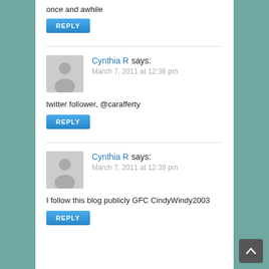once and awhile
REPLY
Cynthia R says:
March 7, 2011 at 12:36 pm
twitter follower, @carafferty
REPLY
Cynthia R says:
March 7, 2011 at 12:39 pm
I follow this blog publicly GFC CindyWindy2003
REPLY